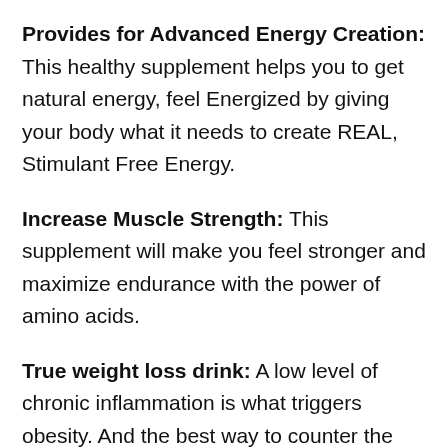Provides for Advanced Energy Creation: This healthy supplement helps you to get natural energy, feel Energized by giving your body what it needs to create REAL, Stimulant Free Energy.
Increase Muscle Strength: This supplement will make you feel stronger and maximize endurance with the power of amino acids.
True weight loss drink: A low level of chronic inflammation is what triggers obesity. And the best way to counter the problem is by flooding the body cells with alkaline foods from fruits and vegetables... the exact thing you get from a